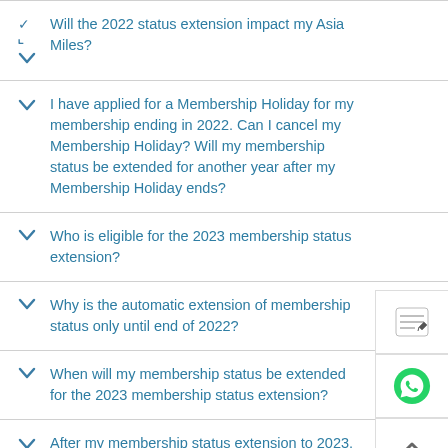Will the 2022 status extension impact my Asia Miles?
I have applied for a Membership Holiday for my membership ending in 2022. Can I cancel my Membership Holiday? Will my membership status be extended for another year after my Membership Holiday ends?
Who is eligible for the 2023 membership status extension?
Why is the automatic extension of membership status only until end of 2022?
When will my membership status be extended for the 2023 membership status extension?
After my membership status extension to 2023, can I still move up to a higher tier if I've earned the required number of club points?